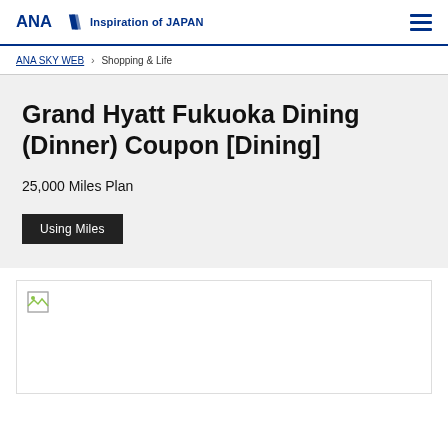ANA Inspiration of JAPAN
ANA SKY WEB > Shopping & Life
Grand Hyatt Fukuoka Dining (Dinner) Coupon [Dining]
25,000 Miles Plan
Using Miles
[Figure (photo): Product image placeholder (broken image icon visible in top-left corner of white rectangle)]